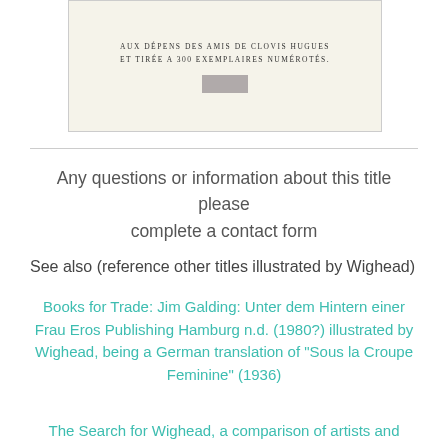[Figure (illustration): A book title page image on cream background showing text: 'AUX DÉPENS DES AMIS DE CLOVIS HUGUES ET TIRÉE A 300 EXEMPLAIRES NUMÉROTÉS.' with a small stamp/seal rectangle below.]
Any questions or information about this title please complete a contact form
See also (reference other titles illustrated by Wighead)
Books for Trade: Jim Galding: Unter dem Hintern einer Frau Eros Publishing Hamburg n.d. (1980?) illustrated by Wighead, being a German translation of "Sous la Croupe Feminine" (1936)
The Search for Wighead, a comparison of artists and